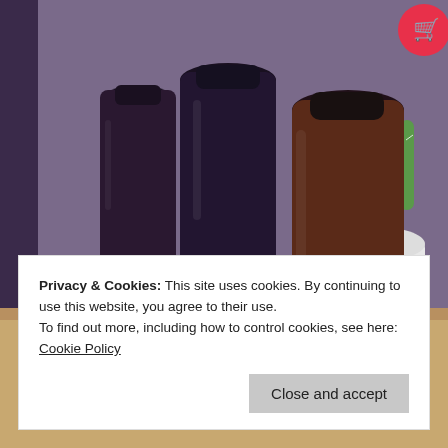[Figure (photo): Three dark amber/brown glass bottles with black caps labeled 'Fresh Skin' and 'Cypress Oil' arranged on a surface, with a cactus plant in a white pot in the background. A red shopping cart icon is visible in the top right corner.]
Privacy & Cookies: This site uses cookies. By continuing to use this website, you agree to their use.
To find out more, including how to control cookies, see here: Cookie Policy
Close and accept